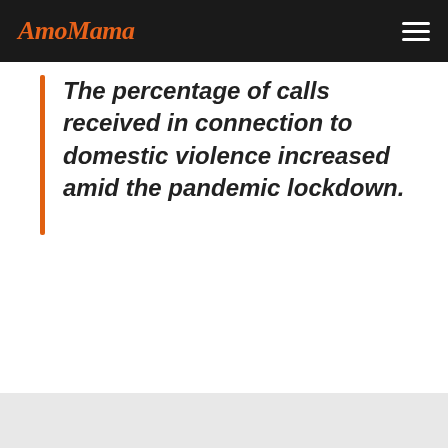AmoMama
The percentage of calls received in connection to domestic violence increased amid the pandemic lockdown.